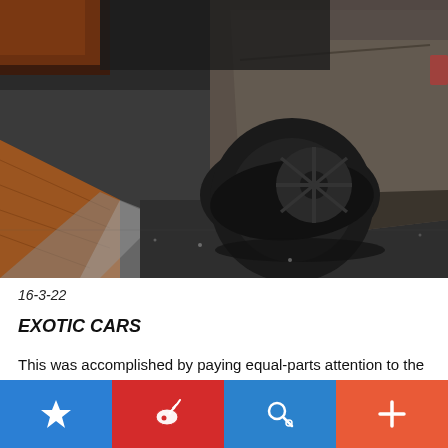[Figure (photo): Close-up low-angle photo of a dark gray/matte exotic car's rear wheel and side skirt on a dark concrete floor with wood flooring visible on the left. The wheel is large and black, the car body is matte gray-brown.]
16-3-22
EXOTIC CARS
This was accomplished by paying equal-parts attention to the cockpit as what will obviously be given to the engine and the
star icon | weibo icon | search icon | plus icon